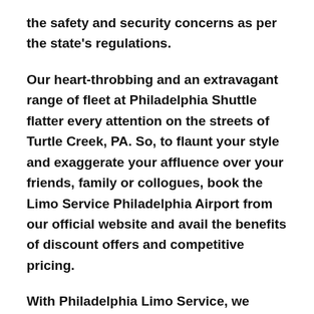the safety and security concerns as per the state's regulations.
Our heart-throbbing and an extravagant range of fleet at Philadelphia Shuttle flatter every attention on the streets of Turtle Creek, PA. So, to flaunt your style and exaggerate your affluence over your friends, family or collogues, book the Limo Service Philadelphia Airport from our official website and avail the benefits of discount offers and competitive pricing.
With Philadelphia Limo Service, we strive to maintain punctuality and timely transport as a primary concern. When it comes to airport transfers, no one can beat Philadelphia Shuttle services for